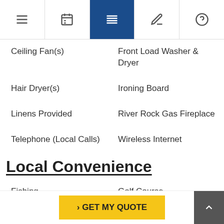Navigation bar with icons: menu, calendar, list (active), edit, help
Ceiling Fan(s)
Front Load Washer & Dryer
Hair Dryer(s)
Ironing Board
Linens Provided
River Rock Gas Fireplace
Telephone (Local Calls)
Wireless Internet
Local Convenience
Fishing
Golf Course
Grocery Store(s)
Horseback Riding
Medical S... (partial)
> GET MY QUOTE